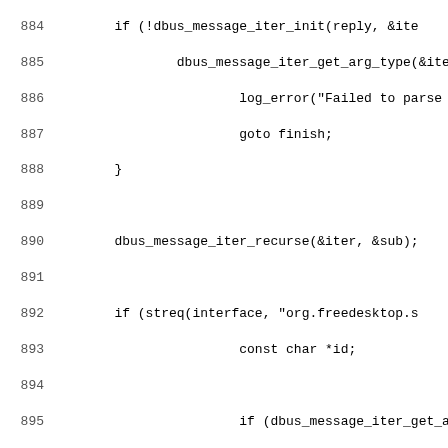[Figure (screenshot): Source code listing in C showing lines 884-915, featuring dbus_message_iter functions, conditional logic with streq checking for org.freedesktop interface, handling unit and job changes with printf statements, and a finish label at line 915.]